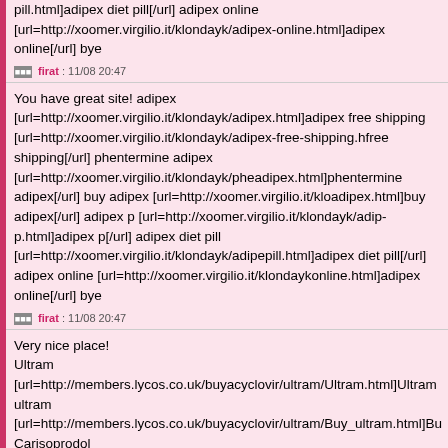pill.html]adipex diet pill[/url] adipex online [url=http://xoomer.virgilio.it/klondayk/adipex-online.html]adipex online[/url] bye
firat : 11/08 20:47
You have great site! adipex [url=http://xoomer.virgilio.it/klondayk/adipex.html]ad... adipex free shipping [url=http://xoomer.virgilio.it/klondayk/adipex-free-shipping.h... free shipping[/url] phentermine adipex [url=http://xoomer.virgilio.it/klondayk/phe... adipex.html]phentermine adipex[/url] buy adipex [url=http://xoomer.virgilio.it/klo... adipex.html]buy adipex[/url] adipex p [url=http://xoomer.virgilio.it/klondayk/adip... p.html]adipex p[/url] adipex diet pill [url=http://xoomer.virgilio.it/klondayk/adipe... pill.html]adipex diet pill[/url] adipex online [url=http://xoomer.virgilio.it/klondayk... online.html]adipex online[/url] bye
firat : 11/08 20:47
Very nice place!
Ultram [url=http://members.lycos.co.uk/buyacyclovir/ultram/Ultram.html]Ultram...
ultram [url=http://members.lycos.co.uk/buyacyclovir/ultram/Buy_ultram.html]Bu...
Carisoprodol
[url=http://members.lycos.co.uk/buyacyclovir/carisoprodol/Carisoprodol.html]Ca...
Carisoprodol online
[url=http://members.lycos.co.uk/buyacyclovir/carisoprodol/Carisoprodol_online.h...
online[/url]
Diazepam
[url=http://members.lycos.co.uk/buyacyclovir/diazepam/Diazepam.html]Diazepam...
diazepam